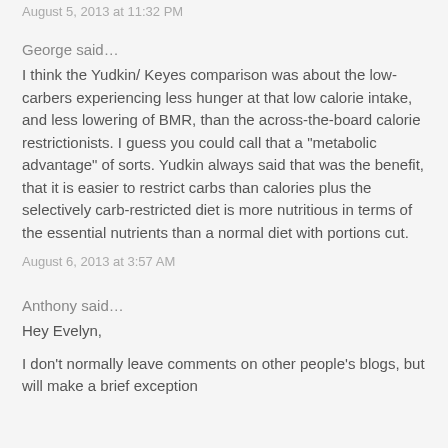August 5, 2013 at 11:32 PM
George said…
I think the Yudkin/ Keyes comparison was about the low-carbers experiencing less hunger at that low calorie intake, and less lowering of BMR, than the across-the-board calorie restrictionists. I guess you could call that a "metabolic advantage" of sorts. Yudkin always said that was the benefit, that it is easier to restrict carbs than calories plus the selectively carb-restricted diet is more nutritious in terms of the essential nutrients than a normal diet with portions cut.
August 6, 2013 at 3:57 AM
Anthony said…
Hey Evelyn,
I don't normally leave comments on other people's blogs, but will make a brief exception